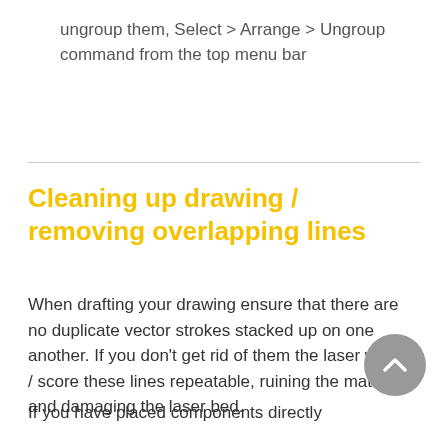ungroup them, Select > Arrange > Ungroup command from the top menu bar
Cleaning up drawing / removing overlapping lines
When drafting your drawing ensure that there are no duplicate vector strokes stacked up on one another. If you don’t get rid of them the laser will cut / score these lines repeatable, ruining the material and damaging the laser bed.
If you have placed components directly